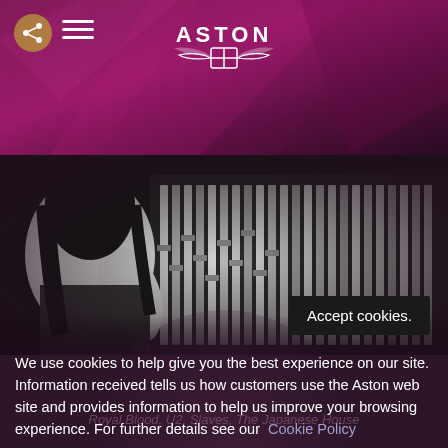[Figure (logo): Aston Microphones logo with wings emblem and ASTON text]
[Figure (photo): Black and white photo of a person with long dark hair leaning over a recording/mixing console in a music studio]
Accept cookies.
We use cookies to help give you the best experience on our site. Information received tells us how customers use the Aston web site and provides information to help us improve your browsing experience. For further details see our Cookie Policy
Royal Blood, U2, Slaves, The Japanese House